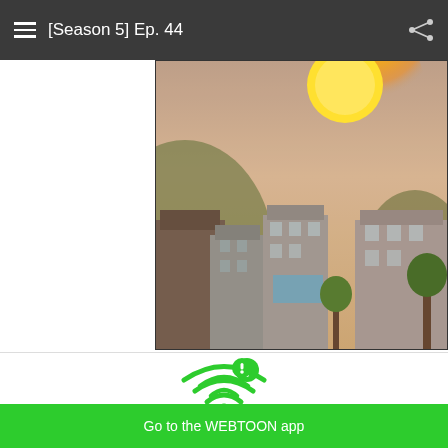[Season 5] Ep. 44
[Figure (illustration): Aerial view illustration of a cityscape with buildings and a large glowing sun in the background, anime/webtoon art style]
[Figure (infographic): Green Wi-Fi icon with an exclamation mark badge indicating network trouble]
Having trouble with slow networks?
Download stories on your phone and read offline!
Go to the WEBTOON app